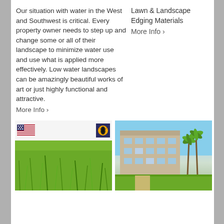Our situation with water in the West and Southwest is critical. Every property owner needs to step up and change some or all of their landscape to minimize water use and use what is applied more effectively. Low water landscapes can be amazingly beautiful works of art or just highly functional and attractive.
More Info ›
Lawn & Landscape Edging Materials
More Info ›
[Figure (photo): Left image with a US flag logo and a stylized eye/tiger graphic at top, with a green grass lawn photo below]
[Figure (photo): Photo of a multi-story building with palm trees and a well-manicured lawn in front, blue sky background]